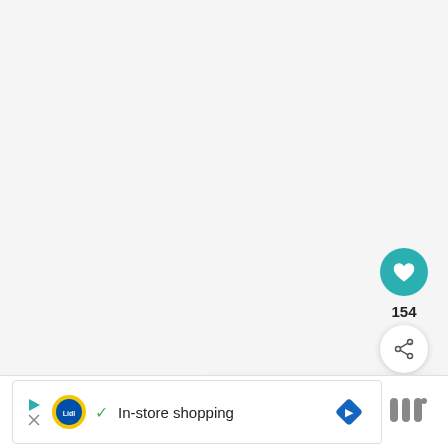[Figure (screenshot): UI element: teal circular like/favorite button with heart icon]
154
[Figure (screenshot): UI element: white circular share button with share icon]
[Figure (screenshot): What's Next panel showing a circular food thumbnail and text 'Unofficial Slimming...']
[Figure (screenshot): Advertisement banner: Lidl logo with 'In-store shopping' text and navigation icon]